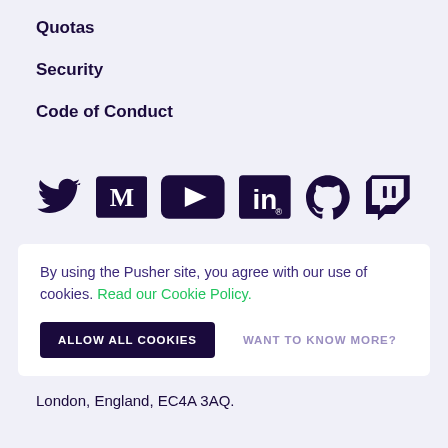Quotas
Security
Code of Conduct
[Figure (other): Row of social media icons: Twitter, Medium, YouTube, LinkedIn, GitHub, Twitch]
By using the Pusher site, you agree with our use of cookies. Read our Cookie Policy.
ALLOW ALL COOKIES   WANT TO KNOW MORE?
London, England, EC4A 3AQ.